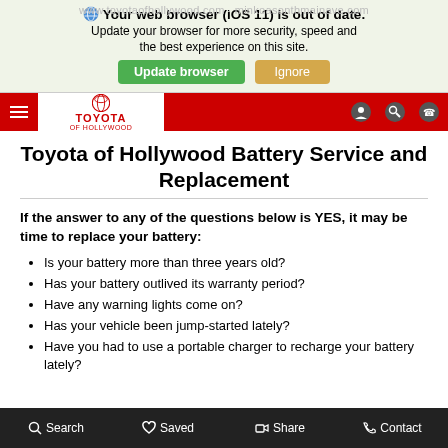[Figure (screenshot): Browser warning banner with globe icon, update browser message, green Update browser button and tan Ignore button. Background watermark text visible.]
[Figure (screenshot): Toyota of Hollywood navigation bar with red hamburger menu, white Toyota of Hollywood logo panel, and nav icons on right.]
Toyota of Hollywood Battery Service and Replacement
If the answer to any of the questions below is YES, it may be time to replace your battery:
Is your battery more than three years old?
Has your battery outlived its warranty period?
Have any warning lights come on?
Has your vehicle been jump-started lately?
Have you had to use a portable charger to recharge your battery lately?
Search  Saved  Share  Contact